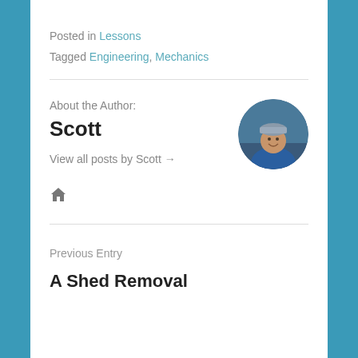Posted in Lessons
Tagged Engineering, Mechanics
About the Author:
Scott
[Figure (photo): Circular profile photo of a man wearing a blue jacket and a knit hat, smiling outdoors near water.]
View all posts by Scott →
🏠
Previous Entry
A Shed Removal